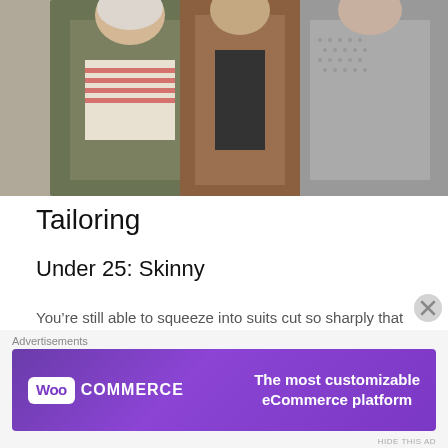[Figure (photo): Three people standing together, wearing casual jackets — an olive military jacket, a brown leather jacket, and a grey textured top]
Tailoring
Under 25: Skinny
You’re still able to squeeze into suits cut so sharply that they could draw blood, or certainly restrict its flow to parts of your compressed anatomy, so enjoy it. Thin lapels and jackets cropped to your armpits all signal that you’re wearing a two-piece as a fashion
Advertisements
[Figure (other): WooCommerce advertisement banner: purple background with WooCommerce logo on the left and text 'The most customizable eCommerce platform' on the right]